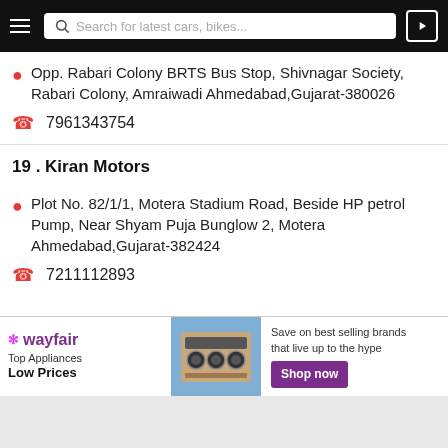Search for latest cars, bikes...
Opp. Rabari Colony BRTS Bus Stop, Shivnagar Society, Rabari Colony, Amraiwadi Ahmedabad,Gujarat-380026
7961343754
19 . Kiran Motors
Plot No. 82/1/1, Motera Stadium Road, Beside HP petrol Pump, Near Shyam Puja Bunglow 2, Motera Ahmedabad,Gujarat-382424
7211112893
[Figure (infographic): Wayfair advertisement banner: Top Appliances Low Prices, image of stove appliance, Save on best selling brands that live up to the hype, Shop now button]